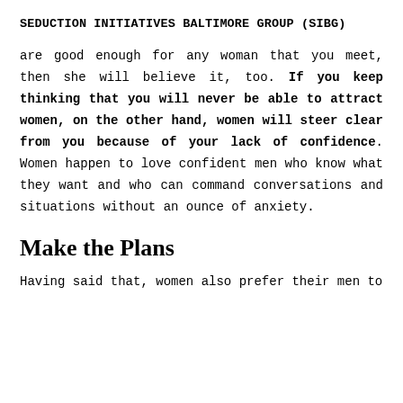SEDUCTION INITIATIVES BALTIMORE GROUP (SIBG)
are good enough for any woman that you meet, then she will believe it, too. If you keep thinking that you will never be able to attract women, on the other hand, women will steer clear from you because of your lack of confidence. Women happen to love confident men who know what they want and who can command conversations and situations without an ounce of anxiety.
Make the Plans
Having said that, women also prefer their men to